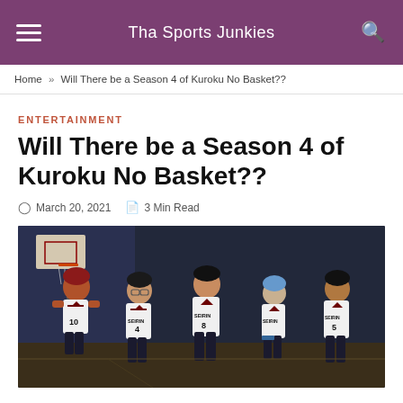Tha Sports Junkies
Home » Will There be a Season 4 of Kuroku No Basket??
ENTERTAINMENT
Will There be a Season 4 of Kuroku No Basket??
March 20, 2021   3 Min Read
[Figure (photo): Anime characters from Kuroko No Basket wearing SEIRIN basketball jerseys, group of five players standing together in an indoor gym setting]